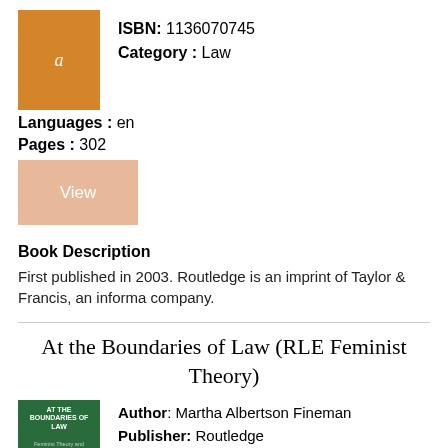[Figure (illustration): Orange book cover thumbnail with white decorative letter]
ISBN: 1136070745
Category : Law
Languages : en
Pages : 302
[Figure (illustration): Light salmon/peach colored 'View' button]
Book Description
First published in 2003. Routledge is an imprint of Taylor & Francis, an informa company.
At the Boundaries of Law (RLE Feminist Theory)
[Figure (illustration): Green book cover with white text reading AT THE BOUNDARIES OF LAW]
Author: Martha Albertson Fineman
Publisher: Routledge
ISBN: 1136204784